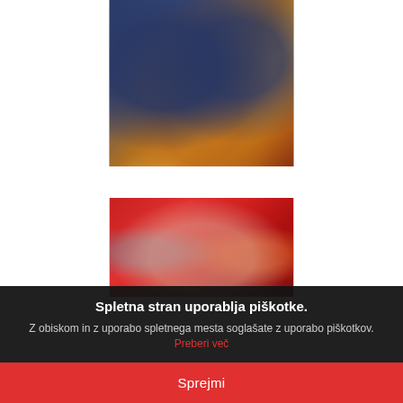[Figure (photo): Group of people in blue and yellow sportswear in a circle on a gym floor, viewed from above]
[Figure (photo): Group of young women posing together in front of a red background, some wearing colorful tops including an orange shirt]
Spletna stran uporablja piškotke.
Z obiskom in z uporabo spletnega mesta soglašate z uporabo piškotkov. Preberi več
Sprejmi